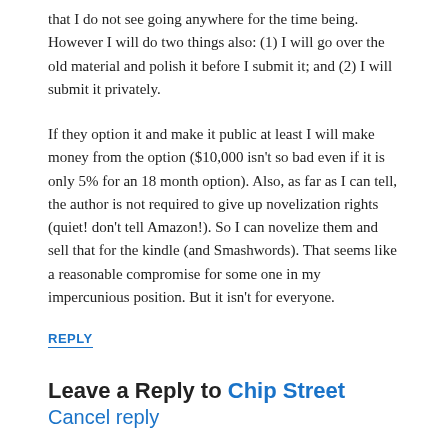that I do not see going anywhere for the time being. However I will do two things also: (1) I will go over the old material and polish it before I submit it; and (2) I will submit it privately.
If they option it and make it public at least I will make money from the option ($10,000 isn't so bad even if it is only 5% for an 18 month option). Also, as far as I can tell, the author is not required to give up novelization rights (quiet! don't tell Amazon!). So I can novelize them and sell that for the kindle (and Smashwords). That seems like a reasonable compromise for some one in my impercunious position. But it isn't for everyone.
REPLY
Leave a Reply to Chip Street Cancel reply